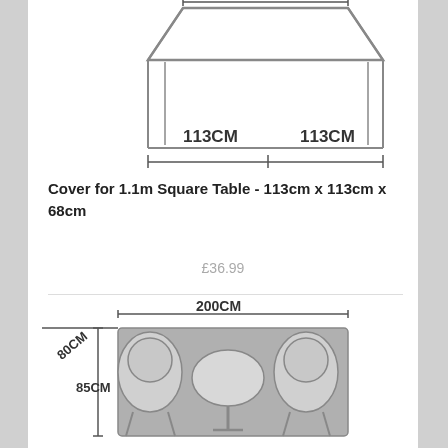[Figure (engineering-diagram): Top view schematic of a square table cover with dimension arrows showing 113CM x 113CM width measurements]
Cover for 1.1m Square Table - 113cm x 113cm x 68cm
£36.99
[Figure (engineering-diagram): Front view schematic of a bistro set cover (2 chairs and round table) with dimension arrows showing 200CM width, 80CM depth, and 85CM height]